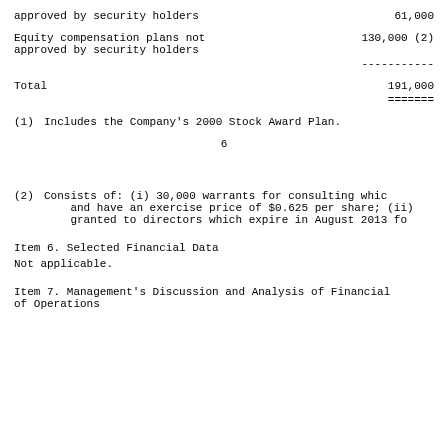approved by security holders    61,000
Equity compensation plans not
approved by security holders    130,000 (2)
-----------
Total    191,000
=======
(1)  Includes the Company's 2000 Stock Award Plan.
6
(2)  Consists of: (i) 30,000 warrants for consulting whic and have an exercise price of $0.625 per share; (ii) granted to directors which expire in August 2013 fo
Item 6. Selected Financial Data
Not applicable.
Item 7. Management's Discussion and Analysis of Financial of Operations